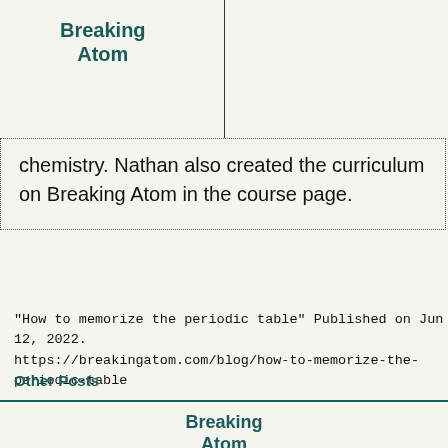Breaking Atom
chemistry. Nathan also created the curriculum on Breaking Atom in the course page.
"How to memorize the periodic table" Published on Jun 12, 2022. https://breakingatom.com/blog/how-to-memorize-the-periodic-table
Other Posts
Breaking Atom